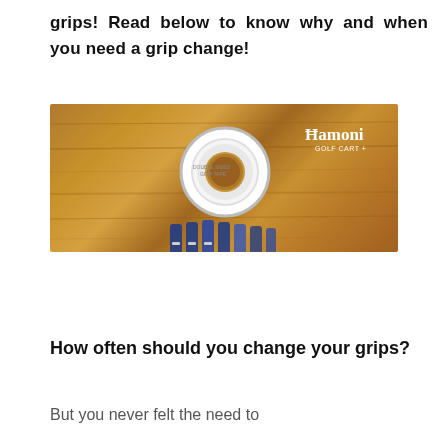grips! Read below to know why and when you need a grip change!
[Figure (photo): A roll of white grip tape sitting on a wooden surface, with golf club grips visible at the bottom. A 'Hamoni Golf Cart+' logo appears in the top right corner of the image.]
How often should you change your grips?
But you never felt the need to